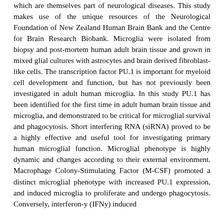which are themselves part of neurological diseases. This study makes use of the unique resources of the Neurological Foundation of New Zealand Human Brain Bank and the Centre for Brain Research Biobank. Microglia were isolated from biopsy and post-mortem human adult brain tissue and grown in mixed glial cultures with astrocytes and brain derived fibroblast-like cells. The transcription factor PU.1 is important for myeloid cell development and function, but has not previously been investigated in adult human microglia. In this study PU.1 has been identified for the first time in adult human brain tissue and microglia, and demonstrated to be critical for microglial survival and phagocytosis. Short interfering RNA (siRNA) proved to be a highly effective and useful tool for investigating primary human microglial function. Microglial phenotype is highly dynamic and changes according to their external environment. Macrophage Colony-Stimulating Factor (M-CSF) promoted a distinct microglial phenotype with increased PU.1 expression, and induced microglia to proliferate and undergo phagocytosis. Conversely, interferon-y (IFNy) induced